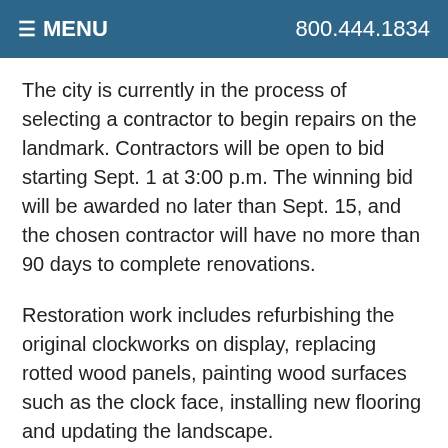≡ MENU  800.444.1834
The city is currently in the process of selecting a contractor to begin repairs on the landmark. Contractors will be open to bid starting Sept. 1 at 3:00 p.m. The winning bid will be awarded no later than Sept. 15, and the chosen contractor will have no more than 90 days to complete renovations.
Restoration work includes refurbishing the original clockworks on display, replacing rotted wood panels, painting wood surfaces such as the clock face, installing new flooring and updating the landscape.
The Greater Rome Convention & Visitors Bureau has helped raise roughly $15,000  of the $50,000 goal in conjunction with the Rome Area History Foundation. One of the most popular fundraising initiatives has been the selling of engraved bricks that will be inlaid on the grounds